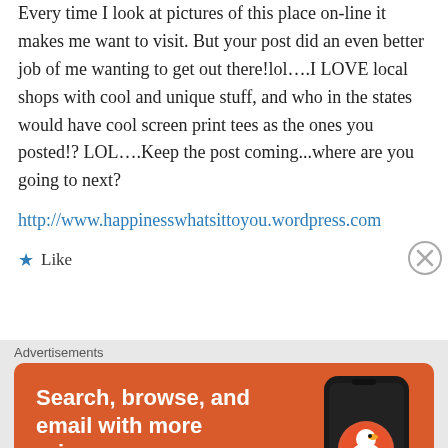Every time I look at pictures of this place on-line it makes me want to visit. But your post did an even better job of me wanting to get out there!lol….I LOVE local shops with cool and unique stuff, and who in the states would have cool screen print tees as the ones you posted!? LOL….Keep the post coming...where are you going to next?
http://www.happinesswhatsittoyou.wordpress.com
★ Like
Advertisements
[Figure (infographic): DuckDuckGo advertisement banner on orange background showing a smartphone with DuckDuckGo logo. Text reads: Search, browse, and email with more privacy. All in One Free App.]